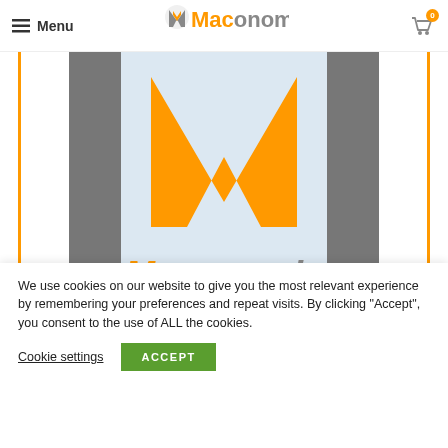Menu | Maconomix | Cart (0)
[Figure (illustration): Maconomix book cover showing the orange M logo on a light blue background with dark gray side elements and the Maconomix brand name in orange and gray below. Framed with orange vertical borders.]
We use cookies on our website to give you the most relevant experience by remembering your preferences and repeat visits. By clicking “Accept”, you consent to the use of ALL the cookies.
Cookie settings   ACCEPT